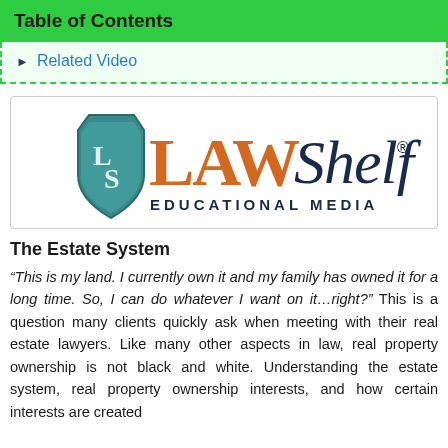Table of Contents
Related Video
[Figure (logo): LawShelf Educational Media logo with teal shield bearing LS initials, orange LAW text, dark blue Shelf text, and EDUCATIONAL MEDIA subtitle]
The Estate System
“This is my land. I currently own it and my family has owned it for a long time. So, I can do whatever I want on it…right?” This is a question many clients quickly ask when meeting with their real estate lawyers. Like many other aspects in law, real property ownership is not black and white. Understanding the estate system, real property ownership interests, and how certain interests are created